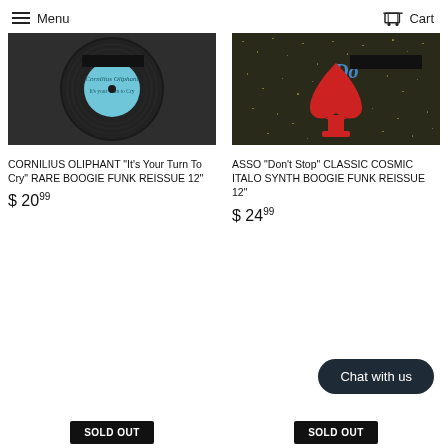Menu  Cart
[Figure (photo): Vinyl record with blue label reading 'Cornilius Oliphant - It's your Turn to Cry', partially cropped at top, dark background]
CORNILIUS OLIPHANT "It's Your Turn To Cry" RARE BOOGIE FUNK REISSUE 12"
$ 20.99
[Figure (photo): Record sleeve with red spade symbol on dark speckled background, partially cropped at top with redacted bar]
ASSO "Don't Stop" CLASSIC COSMIC ITALO SYNTH BOOGIE FUNK REISSUE 12"
$ 24.99
Chat with us
SOLD OUT
SOLD OUT